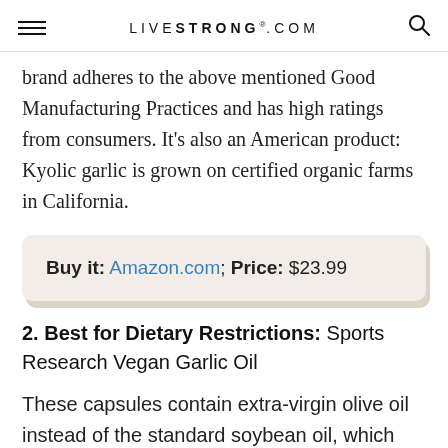LIVESTRONG.COM
brand adheres to the above mentioned Good Manufacturing Practices and has high ratings from consumers. It's also an American product: Kyolic garlic is grown on certified organic farms in California.
Buy it: Amazon.com; Price: $23.99
2. Best for Dietary Restrictions: Sports Research Vegan Garlic Oil
These capsules contain extra-virgin olive oil instead of the standard soybean oil, which may be a better choice for those with allergies to soy. They are also